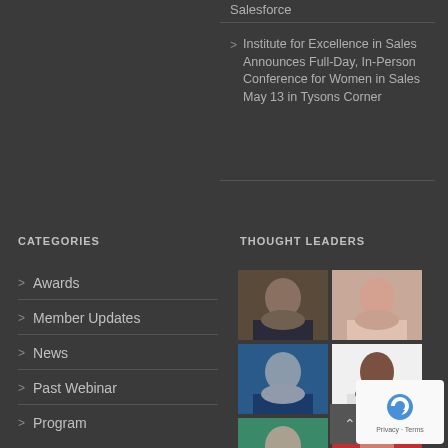Salesforce
Institute for Excellence in Sales Announces Full-Day, In-Person Conference for Women in Sales May 13 in Tysons Corner
CATEGORIES
Awards
Member Updates
News
Past Webinar
Program
THOUGHT LEADERS
[Figure (photo): Grid of 6 thought leader profile photos arranged in 3 rows of 2]